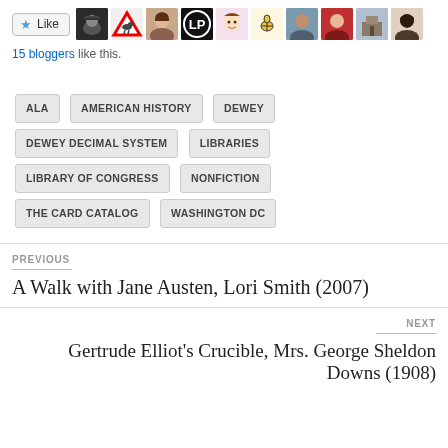[Figure (screenshot): Like button and blogger avatar row showing 15 bloggers like this]
15 bloggers like this.
ALA
AMERICAN HISTORY
DEWEY
DEWEY DECIMAL SYSTEM
LIBRARIES
LIBRARY OF CONGRESS
NONFICTION
THE CARD CATALOG
WASHINGTON DC
PREVIOUS
A Walk with Jane Austen, Lori Smith (2007)
NEXT
Gertrude Elliot's Crucible, Mrs. George Sheldon Downs (1908)